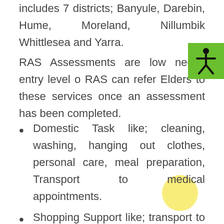includes 7 districts; Banyule, Darebin, Hume, Moreland, Nillumbik Whittlesea and Yarra.
RAS Assessments are low needs entry level o RAS can refer Elders to these services once an assessment has been completed.
Domestic Task like; cleaning, washing, hanging out clothes, personal care, meal preparation, Transport to medical appointments.
Shopping Support like; transport to and from shopping centre, helping our elders